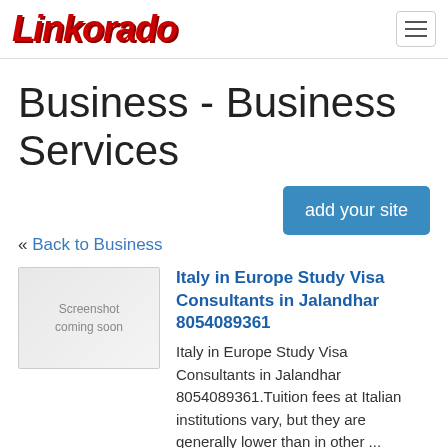Linkorado
Business - Business Services
add your site
« Back to Business
[Figure (screenshot): Screenshot coming soon placeholder image]
Italy in Europe Study Visa Consultants in Jalandhar 8054089361
Italy in Europe Study Visa Consultants in Jalandhar 8054089361.Tuition fees at Italian institutions vary, but they are generally lower than in other ...
url: http://studyvisaconsultan.bowwe-site.com/
added: 2020-12-11